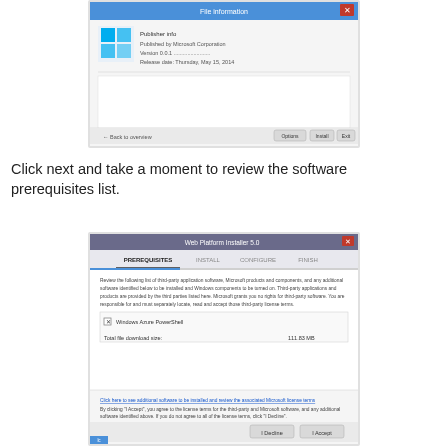[Figure (screenshot): A Windows installer dialog showing a software installation screen with the Windows logo, publisher info 'Published by Microsoft Corporation', version and release date fields, and buttons at the bottom including 'Next' and 'Exit'.]
Click next and take a moment to review the software prerequisites list.
[Figure (screenshot): Web Platform Installer 5.0 dialog showing PREREQUISITES tab active, with INSTALL, CONFIGURE, FINISH tabs. Lists 'Windows Azure PowerShell' with 'Total file download size: 111.83 MB'. Shows a link to additional software and license terms, with 'I Decline' and 'I Accept' buttons at the bottom.]